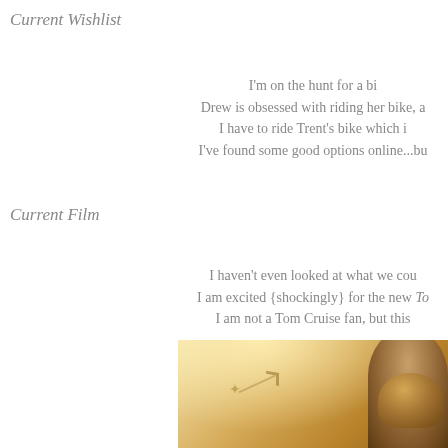Current Wishlist
I'm on the hunt for a bi... Drew is obsessed with riding her bike, a... I have to ride Trent's bike which i... I've found some good options online...bu...
Current Film
I haven't even looked at what we cou... I am excited {shockingly} for the new Top... I am not a Tom Cruise fan, but this...
[Figure (photo): Movie poster showing a warm golden-toned image with a jet/plane and a person in a helmet, likely from Top Gun: Maverick]